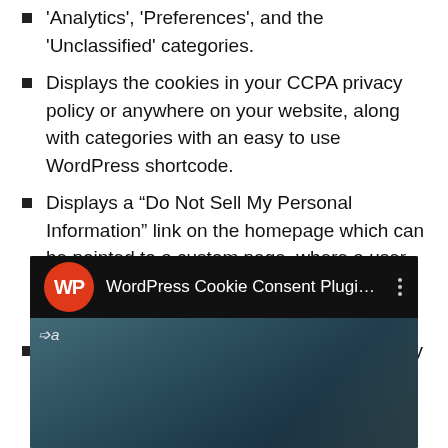'Analytics', 'Preferences', and the 'Unclassified' categories.
Displays the cookies in your CCPA privacy policy or anywhere on your website, along with categories with an easy to use WordPress shortcode.
Displays a “Do Not Sell My Personal Information” link on the homepage which can be pointed to a custom page, where a user can request to opt-out of the sale of the user’s personal information.
Keeps a searchable log of consents given by all website users (Pro version only).
[Figure (screenshot): YouTube-style video thumbnail showing WordPress Cookie Consent Plugin video with WP logo in red circle, dark title bar, and a blurred video preview below]